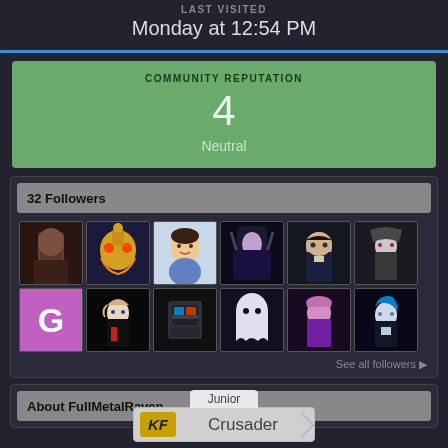LAST VISITED
Monday at 12:54 PM
COMMUNITY REPUTATION
4
Neutral
32 Followers
[Figure (photo): Grid of 12 follower avatar thumbnails in two rows. Row 1: dark male face, Majora's Mask character, cartoon boy, dark anime figure, anime detective, grey anime figure, purple G letter. Row 2: bleach anime character, mech character, white ghost/creature, purple anime, blue-haired anime girl.]
See all followers ▶
About FullMetalRaven
[Figure (infographic): KF Crusader badge with Junior tab above. Badge shows KF logo on left and Crusader text with arrow.]